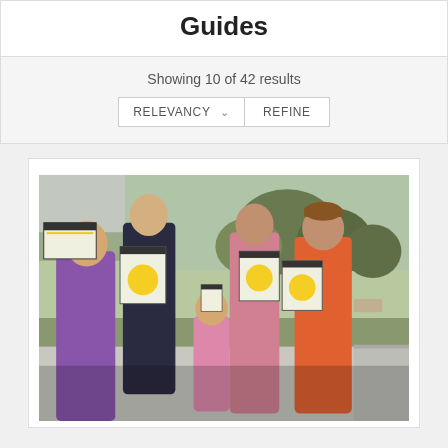Guides
Showing 10 of 42 results
[Figure (screenshot): UI controls showing RELEVANCY dropdown and REFINE button]
[Figure (photo): Group of children outdoors holding papers/activity guides in front of a building with trees in the background]